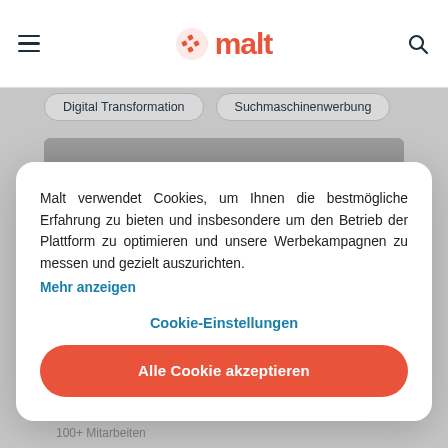malt
Digital Transformation   Suchmaschinenwerbung
Malt verwendet Cookies, um Ihnen die bestmögliche Erfahrung zu bieten und insbesondere um den Betrieb der Plattform zu optimieren und unsere Werbekampagnen zu messen und gezielt auszurichten. Mehr anzeigen
Cookie-Einstellungen
Alle Cookie akzeptieren